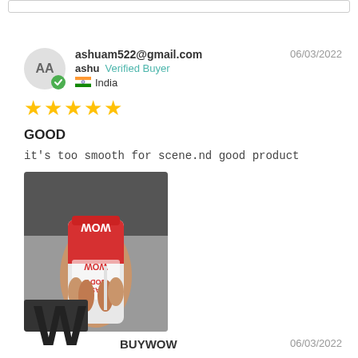ashuam522@gmail.com  ashu  Verified Buyer  India  06/03/2022
★★★★★
GOOD
it's too smooth for scene.nd good product
[Figure (photo): Photo of a person holding a red and white WOW body wash bottle, held upside down]
BUYWOW  06/03/2022